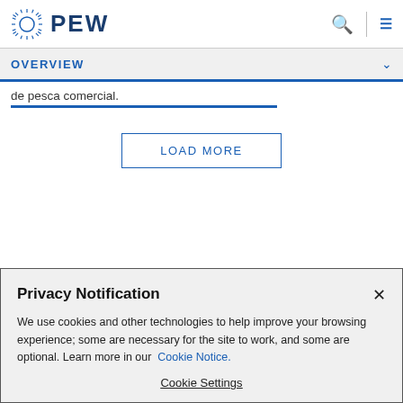PEW
OVERVIEW
de pesca comercial.
LOAD MORE
Privacy Notification
We use cookies and other technologies to help improve your browsing experience; some are necessary for the site to work, and some are optional. Learn more in our Cookie Notice.
Cookie Settings